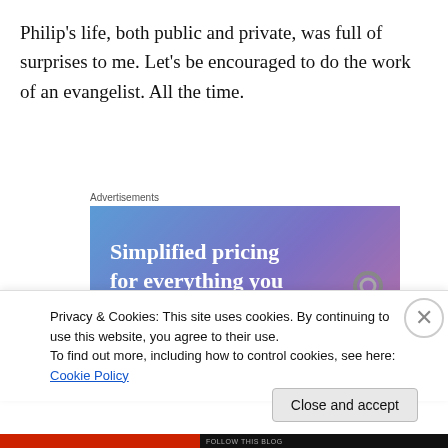Philip's life, both public and private, was full of surprises to me. Let's be encouraged to do the work of an evangelist. All the time.
[Figure (screenshot): Advertisement banner with gradient blue-purple-pink background showing text 'Simplified pricing for everything you need.' with a pink 'Build Your Website' button and a key tag illustration on the right.]
Privacy & Cookies: This site uses cookies. By continuing to use this website, you agree to their use.
To find out more, including how to control cookies, see here: Cookie Policy